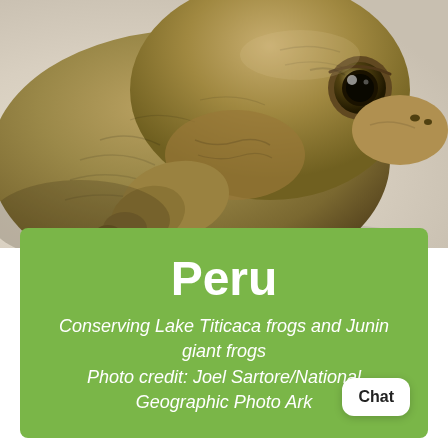[Figure (photo): Close-up photograph of a large brownish-olive frog (Lake Titicaca water frog or Junin giant frog) on a white background, showing wrinkled skin texture, a prominent eye, and a bulky front limb.]
Peru
Conserving Lake Titicaca frogs and Junin giant frogs
Photo credit: Joel Sartore/National Geographic Photo Ark